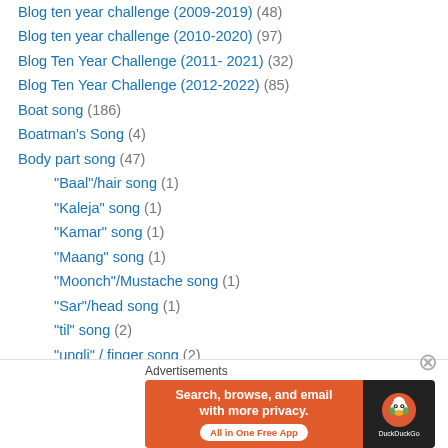Blog ten year challenge (2009-2019) (48)
Blog ten year challenge (2010-2020) (97)
Blog Ten Year Challenge (2011- 2021) (32)
Blog Ten Year Challenge (2012-2022) (85)
Boat song (186)
Boatman's Song (4)
Body part song (47)
"Baal"/hair song (1)
"Kaleja" song (1)
"Kamar" song (1)
"Maang" song (1)
"Moonch"/Mustache song (1)
"Sar"/head song (1)
"til" song (2)
"ungli" / finger song (2)
Baanh/ Bainvva song (2)
[Figure (screenshot): DuckDuckGo advertisement banner: 'Search, browse, and email with more privacy. All in One Free App' with DuckDuckGo logo on dark background.]